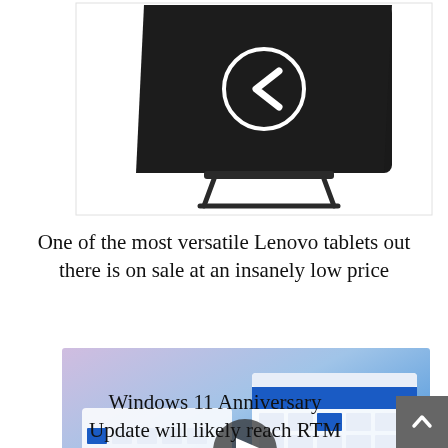[Figure (photo): Back view of a black Lenovo tablet on a stand with a left-arrow navigation icon visible]
One of the most versatile Lenovo tablets out there is on sale at an insanely low price
[Figure (screenshot): Windows 11 interface screenshot showing calendar app and windows with a play button overlay, blue gradient background]
Windows 11 Anniversary Update will likely reach RTM